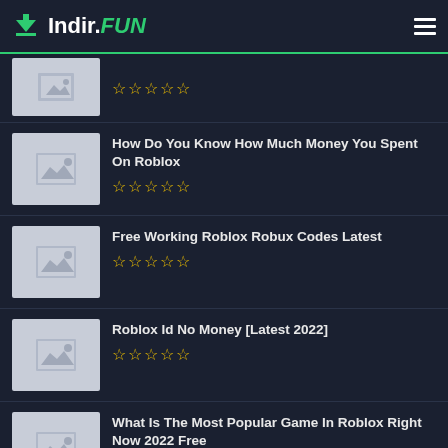Indir.FUN
How Do You Know How Much Money You Spent On Roblox
Free Working Roblox Robux Codes Latest
Roblox Id No Money [Latest 2022]
What Is The Most Popular Game In Roblox Right Now 2022 Free